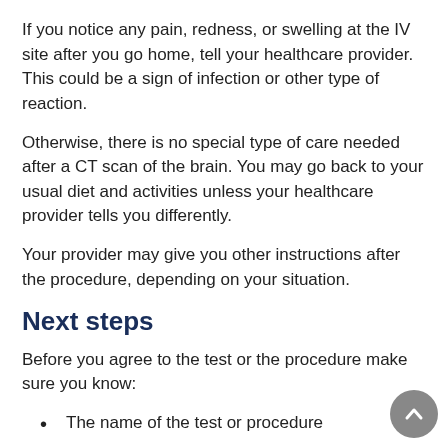If you notice any pain, redness, or swelling at the IV site after you go home, tell your healthcare provider. This could be a sign of infection or other type of reaction.
Otherwise, there is no special type of care needed after a CT scan of the brain. You may go back to your usual diet and activities unless your healthcare provider tells you differently.
Your provider may give you other instructions after the procedure, depending on your situation.
Next steps
Before you agree to the test or the procedure make sure you know:
The name of the test or procedure
The reason you are having the test or procedure
What results to expect and what they mean